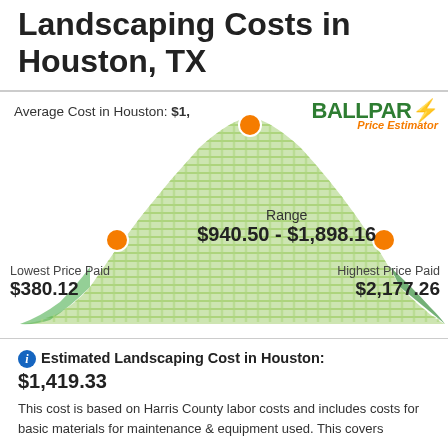Landscaping Costs in Houston, TX
[Figure (continuous-plot): Bell-curve/mountain-shaped distribution chart showing landscaping cost range in Houston TX. Green filled area forms a hill shape. Orange dots mark the range endpoints ($940.50 left, $1,898.16 right) and average ($1,419.33 at top). Striped/hatched green pattern fills the curve area. Labels show Range $940.50 - $1,898.16, Lowest Price Paid $380.12, Highest Price Paid $2,177.26. Ballpark Price Estimator logo in top right corner.]
Estimated Landscaping Cost in Houston: $1,419.33
This cost is based on Harris County labor costs and includes costs for basic materials for maintenance & equipment used. This covers